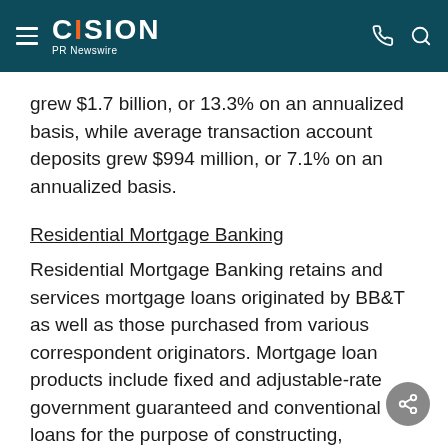CISION PR Newswire
grew $1.7 billion, or 13.3% on an annualized basis, while average transaction account deposits grew $994 million, or 7.1% on an annualized basis.
Residential Mortgage Banking
Residential Mortgage Banking retains and services mortgage loans originated by BB&T as well as those purchased from various correspondent originators. Mortgage loan products include fixed and adjustable-rate government guaranteed and conventional loans for the purpose of constructing, purchasing or refinancing residential properties.